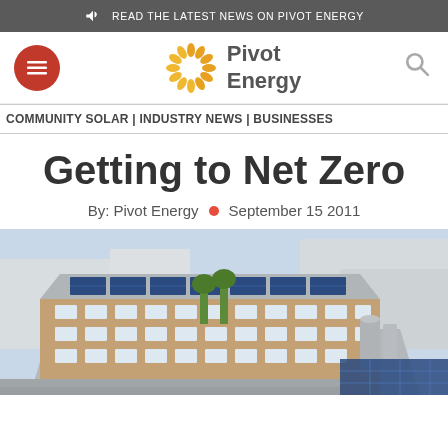READ THE LATEST NEWS ON PIVOT ENERGY
[Figure (logo): Pivot Energy logo with orange sun/gear icon and bold text 'Pivot Energy']
COMMUNITY SOLAR | INDUSTRY NEWS | BUSINESSES
Getting to Net Zero
By: Pivot Energy • September 15 2011
[Figure (illustration): Aerial 3D rendering of a commercial building complex with solar panels installed on rooftops, showing blue solar panel arrays on a multi-story brick building surrounded by other buildings and greenery]